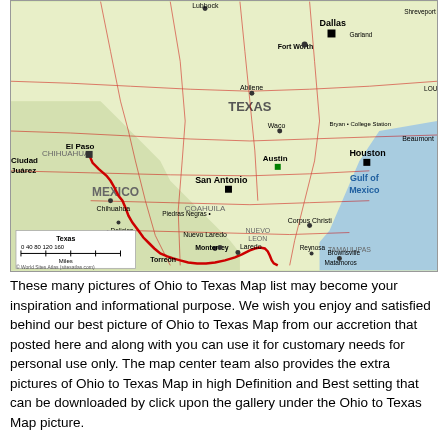[Figure (map): Road map of Texas and northern Mexico showing cities, highways, and state/country borders. Features major cities including Dallas, Fort Worth, Houston, San Antonio, Austin, El Paso, and Mexican cities like Ciudad Juárez, Monterrey, Chihuahua. A red route is traced along the Texas-Mexico border. Gulf of Mexico visible on the right. Scale bar showing Texas miles (0-40-80-120-160). Copyright World Sites Atlas (sitesatlas.com).]
These many pictures of Ohio to Texas Map list may become your inspiration and informational purpose. We wish you enjoy and satisfied behind our best picture of Ohio to Texas Map from our accretion that posted here and along with you can use it for customary needs for personal use only. The map center team also provides the extra pictures of Ohio to Texas Map in high Definition and Best setting that can be downloaded by click upon the gallery under the Ohio to Texas Map picture.